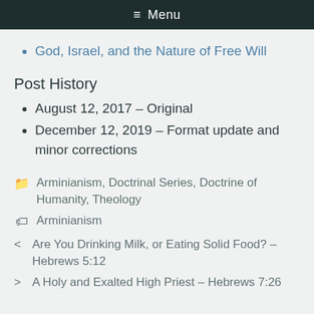☰ Menu
God, Israel, and the Nature of Free Will
Post History
August 12, 2017 – Original
December 12, 2019 – Format update and minor corrections
Arminianism, Doctrinal Series, Doctrine of Humanity, Theology
Arminianism
< Are You Drinking Milk, or Eating Solid Food? – Hebrews 5:12
> A Holy and Exalted High Priest – Hebrews 7:26